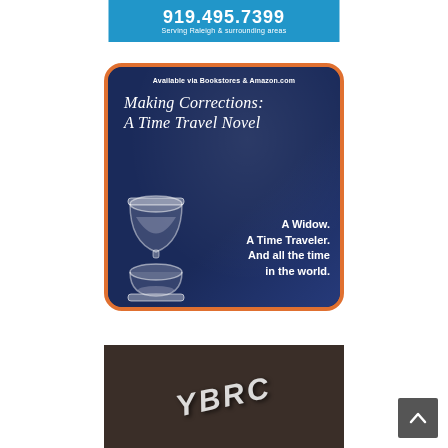[Figure (infographic): Blue advertisement banner showing phone number 919.495.7399 and text 'Serving Raleigh & surrounding areas']
[Figure (infographic): Book advertisement with dark navy blue background and orange rounded border. Text reads: 'Available via Bookstores & Amazon.com', 'Making Corrections: A Time Travel Novel', 'A Widow. A Time Traveler. And all the time in the world.' with hourglass illustration.]
[Figure (infographic): Partial dark brown advertisement banner, partially cut off, with stylized text/logo visible at an angle.]
[Figure (screenshot): Scroll-to-top button (dark gray square with upward chevron arrow)]